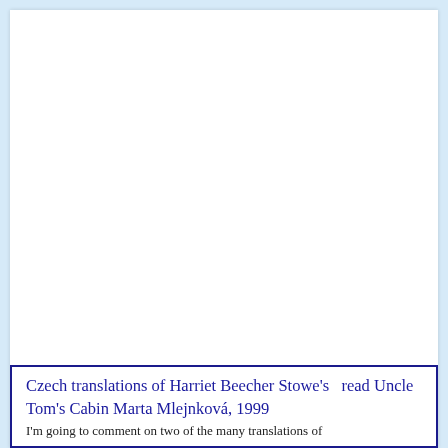Czech translations of Harriet Beecher Stowe's read Uncle Tom's Cabin Marta Mlejnková, 1999
I'm going to comment on two of the many translations of